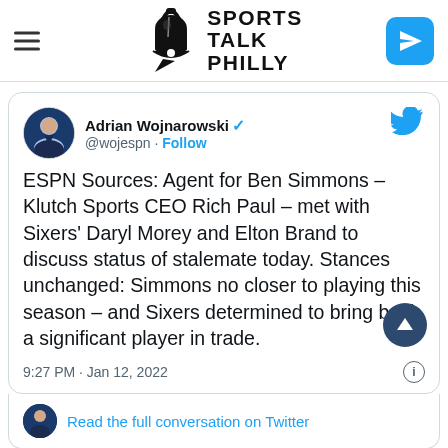[Figure (logo): Sports Talk Philly website header with hamburger menu, bell liberty logo, site name, and send/share button]
[Figure (screenshot): Embedded tweet from @wojespn (Adrian Wojnarowski) with verified badge. Tweet text: ESPN Sources: Agent for Ben Simmons – Klutch Sports CEO Rich Paul – met with Sixers' Daryl Morey and Elton Brand to discuss status of stalemate today. Stances unchanged: Simmons no closer to playing this season – and Sixers determined to bring back a significant player in trade. Time: 9:27 PM · Jan 12, 2022. Bottom: Read the full conversation on Twitter.]